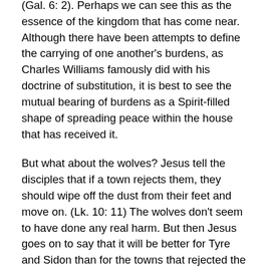(Gal. 6: 2). Perhaps we can see this as the essence of the kingdom that has come near. Although there have been attempts to define the carrying of one another's burdens, as Charles Williams famously did with his doctrine of substitution, it is best to see the mutual bearing of burdens as a Spirit-filled shape of spreading peace within the house that has received it.
But what about the wolves? Jesus tell the disciples that if a town rejects them, they should wipe off the dust from their feet and move on. (Lk. 10: 11) The wolves don't seem to have done any real harm. But then Jesus goes on to say that it will be better for Tyre and Sidon than for the towns that rejected the disciples. Far from threatening these towns with divine vengeance, Jesus is actually warning us that the systemic violence embodied by these past cultures is about to be a lot worse in the present. Lots